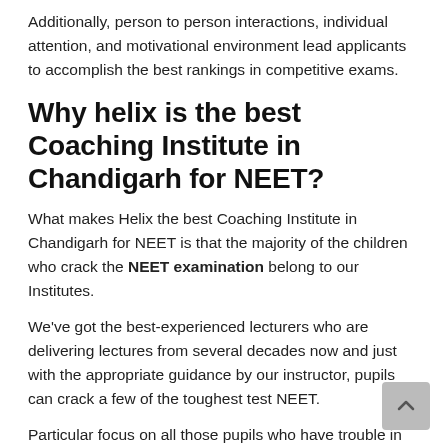Additionally, person to person interactions, individual attention, and motivational environment lead applicants to accomplish the best rankings in competitive exams.
Why helix is the best Coaching Institute in Chandigarh for NEET?
What makes Helix the best Coaching Institute in Chandigarh for NEET is that the majority of the children who crack the NEET examination belong to our Institutes.
We've got the best-experienced lecturers who are delivering lectures from several decades now and just with the appropriate guidance by our instructor, pupils can crack a few of the toughest test NEET.
Particular focus on all those pupils who have trouble in comprehending the subject. We treat each student as equivalent we welcome our students to see anytime